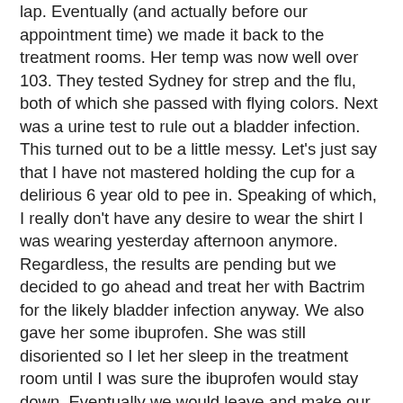lap. Eventually (and actually before our appointment time) we made it back to the treatment rooms. Her temp was now well over 103. They tested Sydney for strep and the flu, both of which she passed with flying colors. Next was a urine test to rule out a bladder infection. This turned out to be a little messy. Let's just say that I have not mastered holding the cup for a delirious 6 year old to pee in. Speaking of which, I really don't have any desire to wear the shirt I was wearing yesterday afternoon anymore. Regardless, the results are pending but we decided to go ahead and treat her with Bactrim for the likely bladder infection anyway. We also gave her some ibuprofen. She was still disoriented so I let her sleep in the treatment room until I was sure the ibuprofen would stay down. Eventually we would leave and make our way back home.
At home Sydney would spend most of her time on the couch. At about 4:30 she would begin throwing up every 15 or 20 minutes for the next hour or so. I had some extra Zofran so I threw that into the mix. That seemed to do the trick. She would fall asleep and rest comfortably for the rest of the night. I don't know what we will find this morning but I am